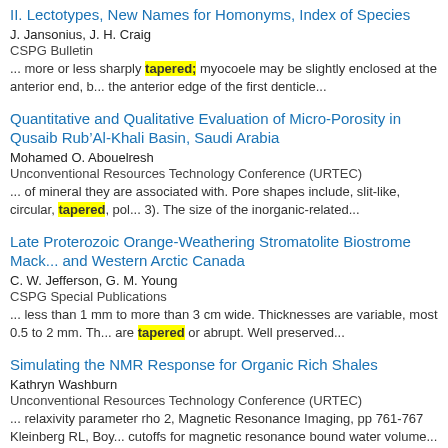II. Lectotypes, New Names for Homonyms, Index of Species
J. Jansonius, J. H. Craig
CSPG Bulletin
... more or less sharply tapered; myocoele may be slightly enclosed at the anterior end, b... the anterior edge of the first denticle...
Quantitative and Qualitative Evaluation of Micro-Porosity in Qusaib Rub'Al-Khali Basin, Saudi Arabia
Mohamed O. Abouelresh
Unconventional Resources Technology Conference (URTEC)
... of mineral they are associated with. Pore shapes include, slit-like, circular, tapered, pol... 3). The size of the inorganic-related...
Late Proterozoic Orange-Weathering Stromatolite Biostrome Mack... and Western Arctic Canada
C. W. Jefferson, G. M. Young
CSPG Special Publications
... less than 1 mm to more than 3 cm wide. Thicknesses are variable, most 0.5 to 2 mm. Th... are tapered or abrupt. Well preserved...
Simulating the NMR Response for Organic Rich Shales
Kathryn Washburn
Unconventional Resources Technology Conference (URTEC)
... relaxivity parameter rho 2, Magnetic Resonance Imaging, pp 761-767 Kleinberg RL, Boy... cutoffs for magnetic resonance bound water volume...